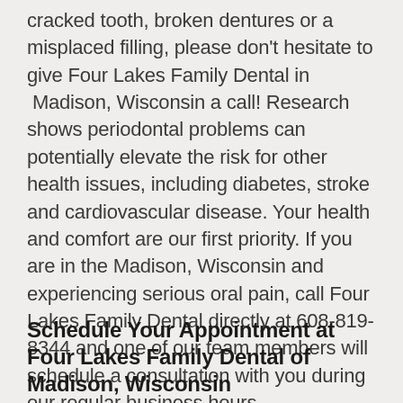cracked tooth, broken dentures or a misplaced filling, please don't hesitate to give Four Lakes Family Dental in  Madison, Wisconsin a call! Research shows periodontal problems can potentially elevate the risk for other health issues, including diabetes, stroke and cardiovascular disease. Your health and comfort are our first priority. If you are in the Madison, Wisconsin and experiencing serious oral pain, call Four Lakes Family Dental directly at 608-819-8344 and one of our team members will schedule a consultation with you during our regular business hours.
Schedule Your Appointment at Four Lakes Family Dental of Madison, Wisconsin